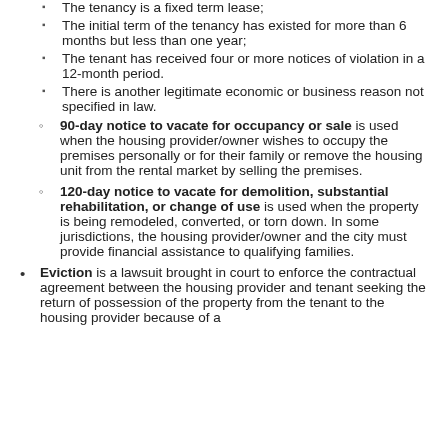The tenancy is a fixed term lease;
The initial term of the tenancy has existed for more than 6 months but less than one year;
The tenant has received four or more notices of violation in a 12-month period.
There is another legitimate economic or business reason not specified in law.
90-day notice to vacate for occupancy or sale is used when the housing provider/owner wishes to occupy the premises personally or for their family or remove the housing unit from the rental market by selling the premises.
120-day notice to vacate for demolition, substantial rehabilitation, or change of use is used when the property is being remodeled, converted, or torn down. In some jurisdictions, the housing provider/owner and the city must provide financial assistance to qualifying families.
Eviction is a lawsuit brought in court to enforce the contractual agreement between the housing provider and tenant seeking the return of possession of the property from the tenant to the housing provider because of a